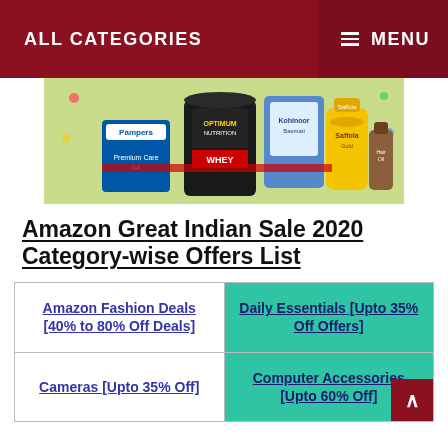ALL CATEGORIES    MENU
[Figure (photo): Amazon Great Indian Sale promotional banner showing grocery and health products including Pampers diapers, Optimum Nutrition Whey protein, Saffola oil, and other products on a green background]
Amazon Great Indian Sale 2020 Category-wise Offers List
| Amazon Fashion Deals [40% to 80% Off Deals] | Daily Essentials [Upto 35% Off Offers] |
| Cameras [Upto 35% Off] | Computer Accessories [Upto 60% Off] |